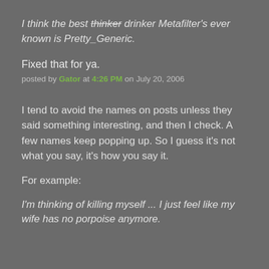I think the best thinker drinker Metafilter's ever known is Pretty_Generic.
Fixed that for ya.
posted by Gator at 4:26 PM on July 20, 2006
I tend to avoid the names on posts unless they said something interesting, and then I check. A few names keep popping up. So I guess it's not what you say, it's how you say it.
For example:
I'm thinking of killing myself ... I just feel like my wife has no porpoise anymore.